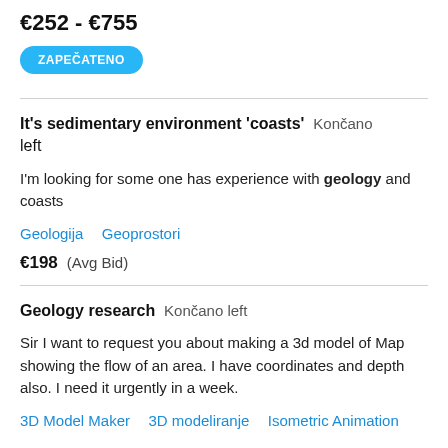€252 - €755
ZAPEČATENO
It's sedimentary environment 'coasts'  Končano left
I'm looking for some one has experience with geology and coasts
Geologija   Geoprostori
€198  (Avg Bid)
Geology research  Končano left
Sir I want to request you about making a 3d model of Map showing the flow of an area. I have coordinates and depth also. I need it urgently in a week.
3D Model Maker   3D modeliranje   Isometric Animation